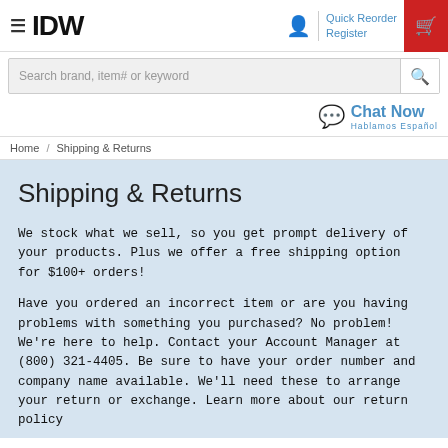IDW — Quick Reorder | Register | [Cart]
Search brand, item# or keyword
Chat Now Hablamos Español
Home / Shipping & Returns
Shipping & Returns
We stock what we sell, so you get prompt delivery of your products. Plus we offer a free shipping option for $100+ orders!
Have you ordered an incorrect item or are you having problems with something you purchased? No problem! We're here to help. Contact your Account Manager at (800) 321-4405. Be sure to have your order number and company name available. We'll need these to arrange your return or exchange. Learn more about our return policy